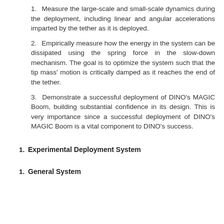Measure the large-scale and small-scale dynamics during the deployment, including linear and angular accelerations imparted by the tether as it is deployed.
Empirically measure how the energy in the system can be dissipated using the spring force in the slow-down mechanism. The goal is to optimize the system such that the tip mass' motion is critically damped as it reaches the end of the tether.
Demonstrate a successful deployment of DINO's MAGIC Boom, building substantial confidence in its design. This is very importance since a successful deployment of DINO's MAGIC Boom is a vital component to DINO's success.
1. Experimental Deployment System
1. General System